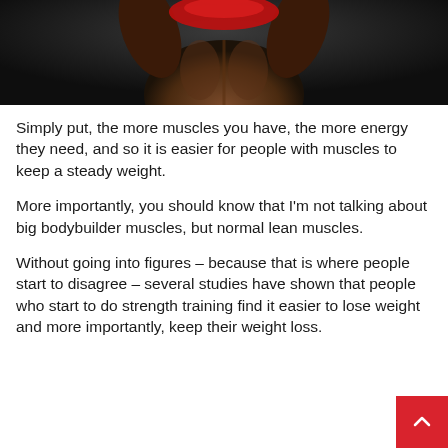[Figure (photo): Photo of a person's muscular back, wearing a red sports bra, posed with arms raised behind head, on a dark background]
Simply put, the more muscles you have, the more energy they need, and so it is easier for people with muscles to keep a steady weight.
More importantly, you should know that I'm not talking about big bodybuilder muscles, but normal lean muscles.
Without going into figures – because that is where people start to disagree – several studies have shown that people who start to do strength training find it easier to lose weight and more importantly, keep their weight loss.